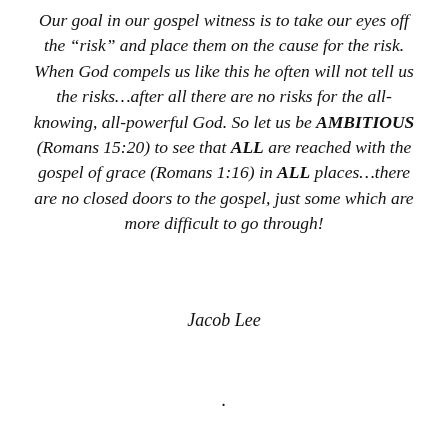Our goal in our gospel witness is to take our eyes off the “risk” and place them on the cause for the risk. When God compels us like this he often will not tell us the risks…after all there are no risks for the all-knowing, all-powerful God. So let us be AMBITIOUS (Romans 15:20) to see that ALL are reached with the gospel of grace (Romans 1:16) in ALL places…there are no closed doors to the gospel, just some which are more difficult to go through!
Jacob Lee
.